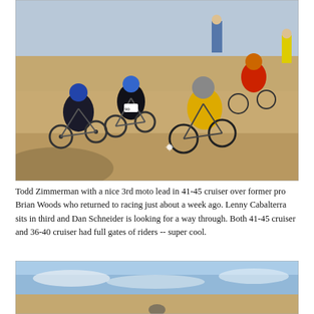[Figure (photo): BMX racers on a dirt track, leaning into a corner. Several riders visible including ones in blue, black, red, and yellow jerseys with helmets. Dirt berm turn in foreground.]
Todd Zimmerman with a nice 3rd moto lead in 41-45 cruiser over former pro Brian Woods who returned to racing just about a week ago. Lenny Cabalterra sits in third and Dan Schneider is looking for a way through. Both 41-45 cruiser and 36-40 cruiser had full gates of riders -- super cool.
[Figure (photo): Partial photo of a BMX track or landscape under a blue sky with some clouds, cut off at the bottom of the page.]